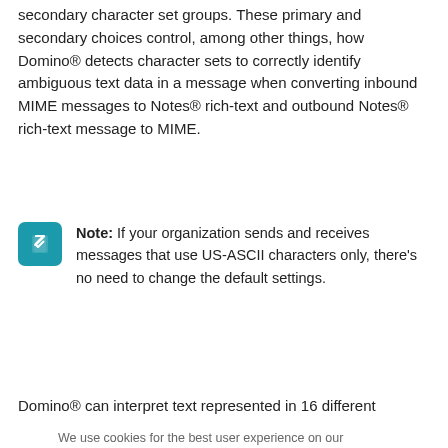secondary character set groups. These primary and secondary choices control, among other things, how Domino® detects character sets to correctly identify ambiguous text data in a message when converting inbound MIME messages to Notes® rich-text and outbound Notes® rich-text message to MIME.
Note: If your organization sends and receives messages that use US-ASCII characters only, there's no need to change the default settings.
Domino® can interpret text represented in 16 different character
We use cookies for the best user experience on our website, including to personalize content & offerings, to provide social media features and to analyze traffic. By clicking "Accept All Cookies" you agree to our use of cookies. You can also manage your cookies by clicking on the "Cookie Preferences" and selecting the categories you would like to accept. For more information on how we use cookies please visit our Cookie Statement and Privacy Statement